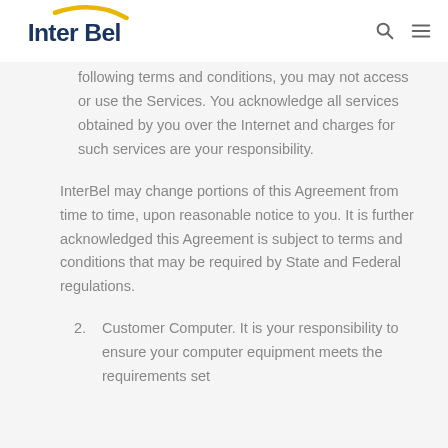InterBel
following terms and conditions, you may not access or use the Services. You acknowledge all services obtained by you over the Internet and charges for such services are your responsibility.
InterBel may change portions of this Agreement from time to time, upon reasonable notice to you. It is further acknowledged this Agreement is subject to terms and conditions that may be required by State and Federal regulations.
2. Customer Computer. It is your responsibility to ensure your computer equipment meets the requirements set